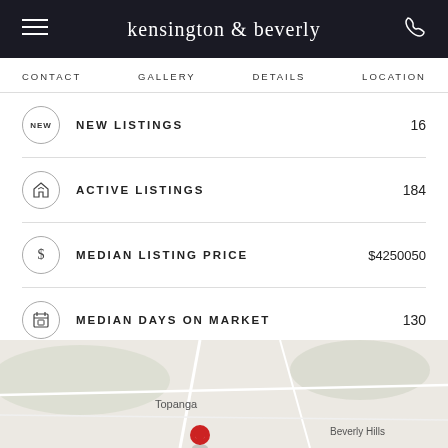kensington & beverly
CONTACT  GALLERY  DETAILS  LOCATION
|  | Category | Value |
| --- | --- | --- |
| NEW | NEW LISTINGS | 16 |
| home | ACTIVE LISTINGS | 184 |
| $ | MEDIAN LISTING PRICE | $4250050 |
| calendar | MEDIAN DAYS ON MARKET | 130 |
| SQF | MEDIAN SQF | 3488 |
| $ | MEDIAN PRICE PER SQF | $1021.57717 |
[Figure (map): Map showing Topanga and Beverly Hills area with a red location pin marker]